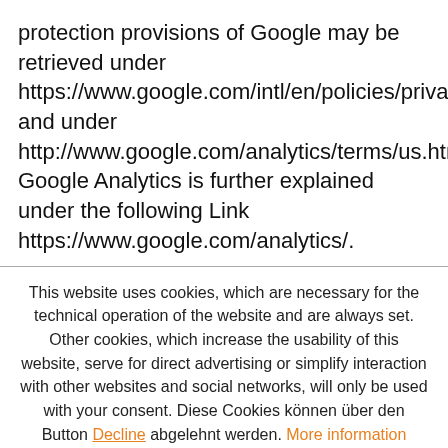protection provisions of Google may be retrieved under https://www.google.com/intl/en/policies/privacy/ and under http://www.google.com/analytics/terms/us.html. Google Analytics is further explained under the following Link https://www.google.com/analytics/.
This website uses cookies, which are necessary for the technical operation of the website and are always set. Other cookies, which increase the usability of this website, serve for direct advertising or simplify interaction with other websites and social networks, will only be used with your consent. Diese Cookies können über den Button Decline abgelehnt werden. More information